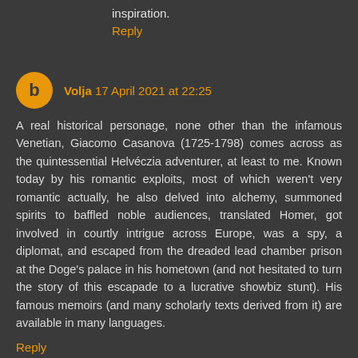inspiration.
Reply
Volja 17 April 2021 at 22:25
A real historical personage, none other than the infamous Venetian, Giacomo Casanova (1725-1798) comes across as the quintessential Helvéczia adventurer, at least to me. Known today by his romantic exploits, most of which weren't very romantic actually, he also delved into alchemy, summoned spirits to baffled noble audiences, translated Homer, got involved in courtly intrigue across Europe, was a spy, a diplomat, and escaped from the dreaded lead chamber prison at the Doge's palace in his hometown (and not hesitated to turn the story of this escapade to a lucrative showbiz stunt). His famous memoirs (and many scholarly texts derived from it) are available in many languages.
Reply